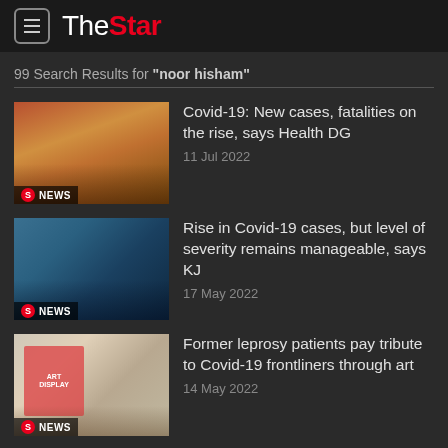The Star
99 Search Results for "noor hisham"
[Figure (photo): Indoor vaccination or event hall with rows of people seated, red and orange interior]
Covid-19: New cases, fatalities on the rise, says Health DG
11 Jul 2022
[Figure (photo): Healthcare worker in blue PPE performing a nasal swab test on a patient]
Rise in Covid-19 cases, but level of severity remains manageable, says KJ
17 May 2022
[Figure (photo): Art display or poster showing illustrated figures, related to leprosy patients tribute]
Former leprosy patients pay tribute to Covid-19 frontliners through art
14 May 2022
Bullying: Health Ministry looks at changing birthdate in...